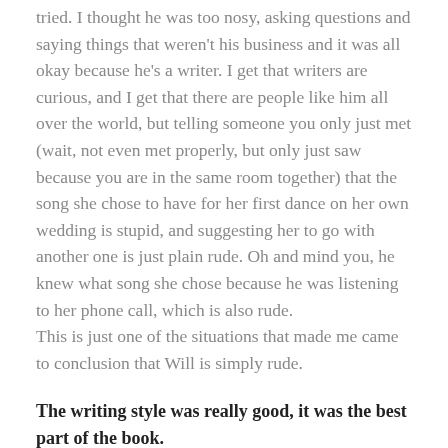tried. I thought he was too nosy, asking questions and saying things that weren't his business and it was all okay because he's a writer. I get that writers are curious, and I get that there are people like him all over the world, but telling someone you only just met (wait, not even met properly, but only just saw because you are in the same room together) that the song she chose to have for her first dance on her own wedding is stupid, and suggesting her to go with another one is just plain rude. Oh and mind you, he knew what song she chose because he was listening to her phone call, which is also rude.
This is just one of the situations that made me came to conclusion that Will is simply rude.
The writing style was really good, it was the best part of the book.
Now, the less not so...